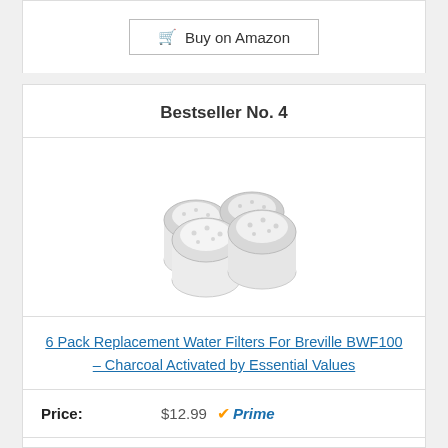Buy on Amazon
Bestseller No. 4
[Figure (photo): Four white charcoal water filter pods arranged in a 2x2 group, product image for Breville BWF100 replacement filters]
6 Pack Replacement Water Filters For Breville BWF100 – Charcoal Activated by Essential Values
Price: $12.99 Prime
Buy on Amazon